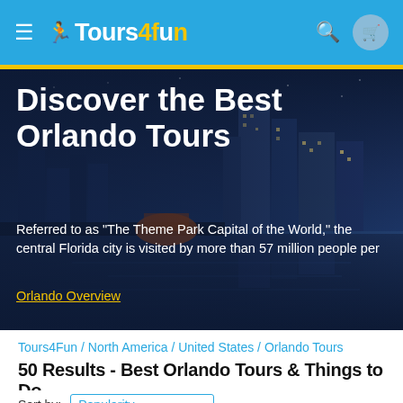Tours4fun navigation bar with hamburger menu, logo, search and cart icons
[Figure (screenshot): Hero image of Orlando city skyline at night reflected on water, with dark blue night sky and illuminated skyscrapers]
Discover the Best Orlando Tours
Referred to as "The Theme Park Capital of the World," the central Florida city is visited by more than 57 million people per
Orlando Overview
Tours4Fun / North America / United States / Orlando Tours
50 Results - Best Orlando Tours & Things to Do
Sort by: Popularity